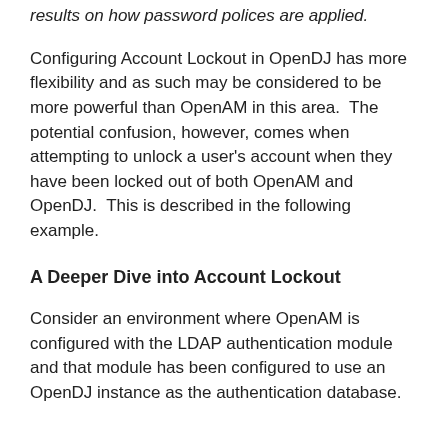results on how password polices are applied.
Configuring Account Lockout in OpenDJ has more flexibility and as such may be considered to be more powerful than OpenAM in this area.  The potential confusion, however, comes when attempting to unlock a user's account when they have been locked out of both OpenAM and OpenDJ.  This is described in the following example.
A Deeper Dive into Account Lockout
Consider an environment where OpenAM is configured with the LDAP authentication module and that module has been configured to use an OpenDJ instance as the authentication database.